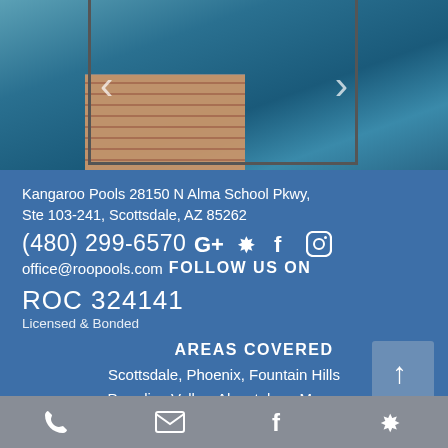[Figure (photo): Swimming pool with blue water and brick/paver decking, shown as a mobile website carousel image with left and right navigation arrows]
Kangaroo Pools 28150 N Alma School Pkwy, Ste 103-241, Scottsdale, AZ 85262
(480) 299-6570
office@roopools.com FOLLOW US ON
ROC 324141
Licensed & Bonded
AREAS COVERED
Scottsdale, Phoenix, Fountain Hills
Paradise Valley, Ahwatukee, Mesa,
phone | email | facebook | yelp